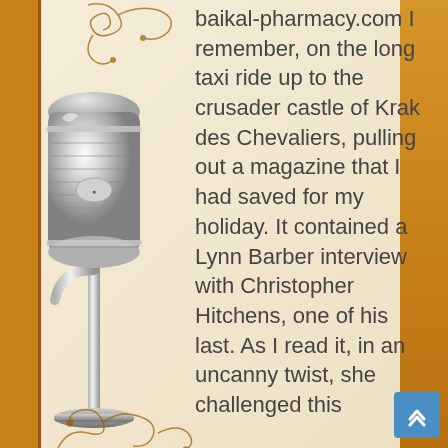[Figure (illustration): Vintage silver microphone on a stand against a decorative golden/orange background with ornamental scroll designs and a red dotted stripe on the left border.]
baikal-pharmacy.com I remember, on the long taxi ride up to the crusader castle of Krak des Chevaliers, pulling out a magazine that I had saved for my holiday. It contained a Lynn Barber interview with Christopher Hitchens, one of his last. As I read it, in an uncanny twist, she challenged this